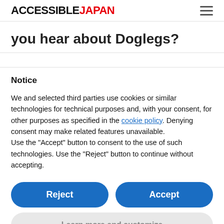ACCESSIBLEJAPAN
you hear about Doglegs?
(partial obscured text row)
Notice
We and selected third parties use cookies or similar technologies for technical purposes and, with your consent, for other purposes as specified in the cookie policy. Denying consent may make related features unavailable.
Use the "Accept" button to consent to the use of such technologies. Use the "Reject" button to continue without accepting.
Reject
Accept
Learn more and customize